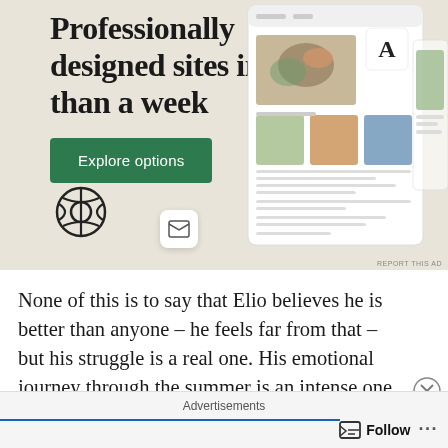[Figure (infographic): WordPress advertisement banner with beige background showing 'Professionally designed sites in less than a week' headline, a green 'Explore options' button, the WordPress logo, and mockup screenshots of web designs on the right side. 'REPORT THIS AD' label at bottom right.]
None of this is to say that Elio believes he is better than anyone – he feels far from that – but his struggle is a real one. His emotional journey through the summer is an intense one that pulls hard at one's core as he fights to learn what it is he is even
Advertisements